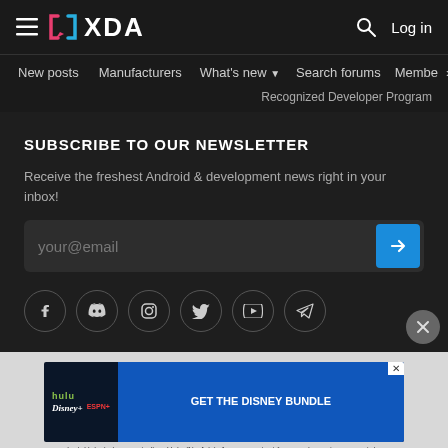XDA Forums header with hamburger menu, XDA logo, search icon, and Log in link
Navigation: New posts | Manufacturers | What's new ▼ | Search forums | Membe > | Recognized Developer Program
SUBSCRIBE TO OUR NEWSLETTER
Receive the freshest Android & development news right in your inbox!
your@email [submit button]
[Figure (infographic): Social media icon row: Facebook, Discord, Instagram, Twitter, YouTube, Telegram]
[Figure (infographic): Disney Bundle advertisement banner: hulu, Disney+, ESPN+. GET THE DISNEY BUNDLE. Incl. Hulu (ad-supported) or Hulu (No Ads). Access content from each service separately. ©2021 Disney and its related entities.]
XDA